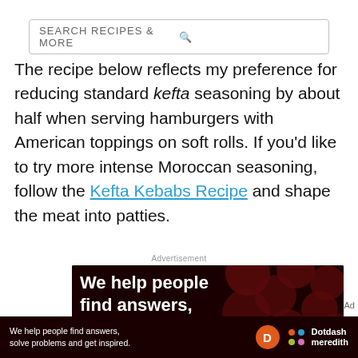SEARCH RECIPES & MORE
The recipe below reflects my preference for reducing standard kefta seasoning by about half when serving hamburgers with American toppings on soft rolls. If you'd like to try more intense Moroccan seasoning, follow the Kefta Kebabs Recipe and shape the meat into patties.
Advertisement
[Figure (photo): Dark advertisement banner with dark red polka-dot background showing text 'We help people find answers, solve problems and get inspired' in large white bold font]
[Figure (photo): Bottom sticky ad bar with dark background showing 'We help people find answers, solve problems and get inspired.' with Dotdash Meredith logo]